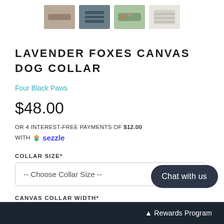[Figure (photo): Four product thumbnail images of a lavender foxes canvas dog collar]
LAVENDER FOXES CANVAS DOG COLLAR
Four Black Paws
$48.00
OR 4 INTEREST-FREE PAYMENTS OF $12.00 WITH sezzle
COLLAR SIZE*
-- Choose Collar Size --
CANVAS COLLAR WIDTH*
-- Choose Canvas Collar W
Chat with us
Rewards Program